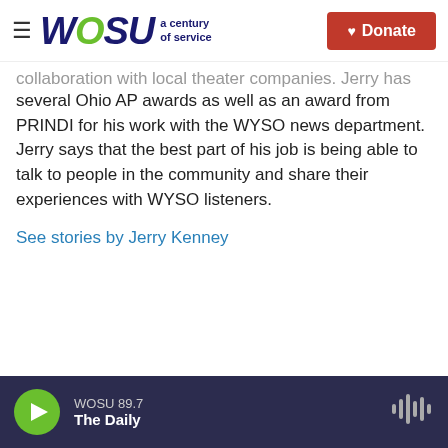WOSU a century of service | Donate
collaboration with local theater companies. Jerry has won several Ohio AP awards as well as an award from PRINDI for his work with the WYSO news department. Jerry says that the best part of his job is being able to talk to people in the community and share their experiences with WYSO listeners.
See stories by Jerry Kenney
WOSU 89.7 The Daily